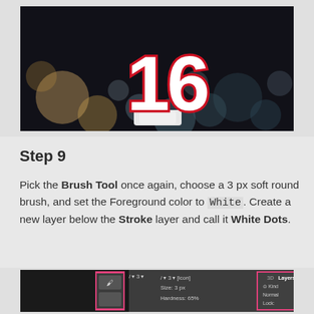[Figure (screenshot): Photoshop canvas showing large '16' candle text with red stroke on dark bokeh background]
Step 9
Pick the Brush Tool once again, choose a 3 px soft round brush, and set the Foreground color to White. Create a new layer below the Stroke layer and call it White Dots.
[Figure (screenshot): Photoshop interface showing Brush Tool settings panel with Size: 3 px, Hardness: 65%, and Layers panel showing Normal blend mode, Opacity: 100%, Fill: 100%]